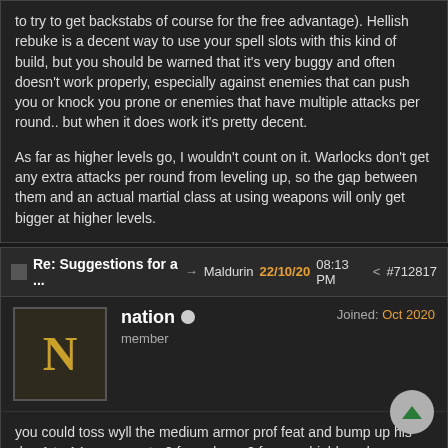to try to get backstabs of course for the free advantage). Hellish rebuke is a decent way to use your spell slots with this kind of build, but you should be warned that it's very buggy and often doesn't work properly, especially against enemies that can push you or knock you prone or enemies that have multiple attacks per round.. but when it does work it's pretty decent.

As far as higher levels go, I wouldn't count on it. Warlocks don't get any extra attacks per round from leveling up, so the gap between them and an actual martial class at using weapons will only get bigger at higher levels.
Re: Suggestions for a ...  Maldurin  22/10/20  08:13 PM  #712817
nation
member
Joined: Oct 2020
you could toss wyll the medium armor prof feat and bump up his dex 1 to 14 so you get +2 from dex, +2 from a shield, and can wear medium armor so he is a little more tanky that can make for some fun gameplay, but as others said the 9 str kinda holds him back from wading into melee. (i also wish we could select feats at first level as a toggable campaign option too so to open up some character builds, but thats an aside)